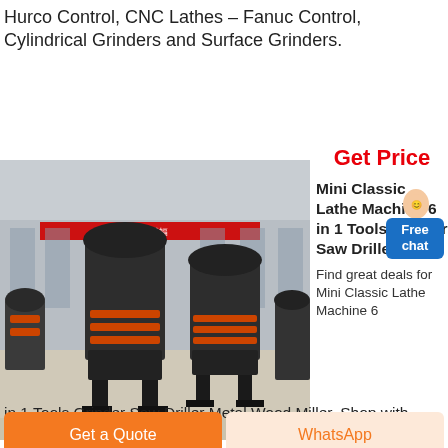Hurco Control, CNC Lathes – Fanuc Control, Cylindrical Grinders and Surface Grinders.
Get Price
[Figure (photo): Industrial grinding/milling machines (dark metal, cylindrical towers with red rings) displayed in a factory warehouse setting with red banner in background.]
Mini Classic Lathe Machine 6 in 1 Tools Grinder Saw Driller Metal
Find great deals for Mini Classic Lathe Machine 6 in 1 Tools Grinder Saw Driller Metal Wood Miller. Shop with confidence on eBay!
Get a Quote
WhatsApp